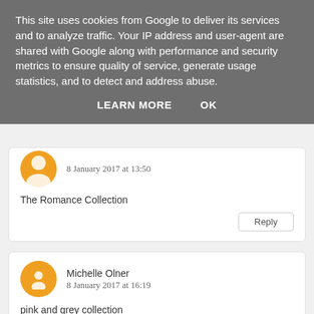This site uses cookies from Google to deliver its services and to analyze traffic. Your IP address and user-agent are shared with Google along with performance and security metrics to ensure quality of service, generate usage statistics, and to detect and address abuse.
LEARN MORE   OK
8 January 2017 at 13:50
The Romance Collection
Reply
Michelle Olner
8 January 2017 at 16:19
pink and grey collection
Reply